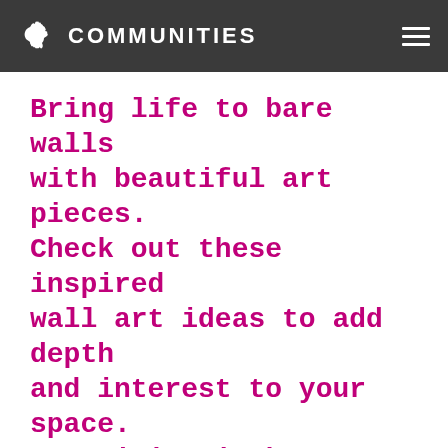COMMUNITIES
Bring life to bare walls with beautiful art pieces. Check out these inspired wall art ideas to add depth and interest to your space. Creativity is key!
Wall décor can make or break even the most beautiful interiors, but sometimes it can be hard to find a piece that suits your style. Luckily there's a whole world of ideas out there for those seeking inspiration. Here's a list of our five favourite